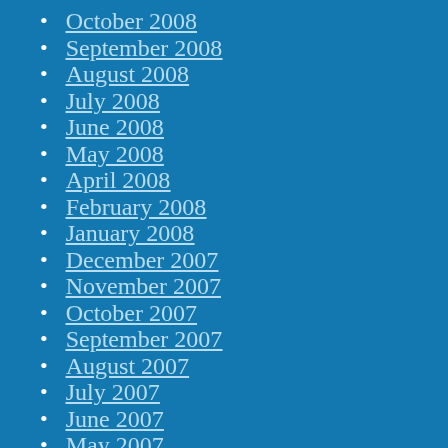October 2008
September 2008
August 2008
July 2008
June 2008
May 2008
April 2008
February 2008
January 2008
December 2007
November 2007
October 2007
September 2007
August 2007
July 2007
June 2007
May 2007